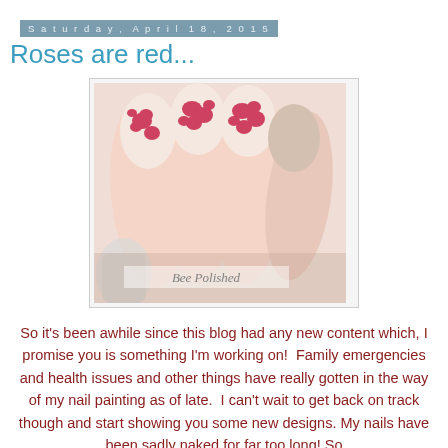Saturday, April 18, 2015
Roses are red...
[Figure (photo): Close-up photo of fingernails painted with a beige/cream base and pink/red rose floral stamping pattern, with a nail polish bottle visible. Watermark reads 'Bee Polished'.]
So it's been awhile since this blog had any new content which, I promise you is something I'm working on!  Family emergencies and health issues and other things have really gotten in the way of my nail painting as of late.  I can't wait to get back on track though and start showing you some new designs. My nails have been sadly naked for far too long! So